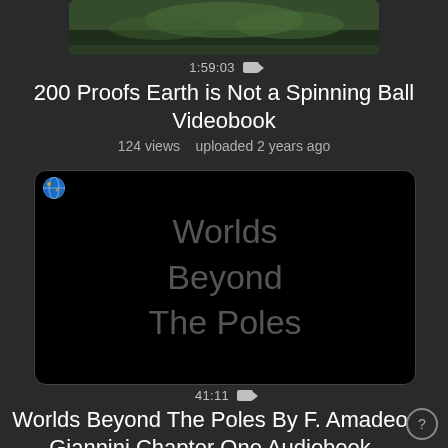[Figure (screenshot): Top portion of a video thumbnail showing green outdoor scene]
1:59:03 🎥
200 Proofs Earth is Not a Spinning Ball Videobook
124 views   uploaded 2 years ago
[Figure (screenshot): Dark video thumbnail showing text 'Worlds Beyond The Poles' with a small globe icon in top-left corner]
41:11 🎥
Worlds Beyond The Poles By F. Amadeo Giannini Chapter One Audiobook